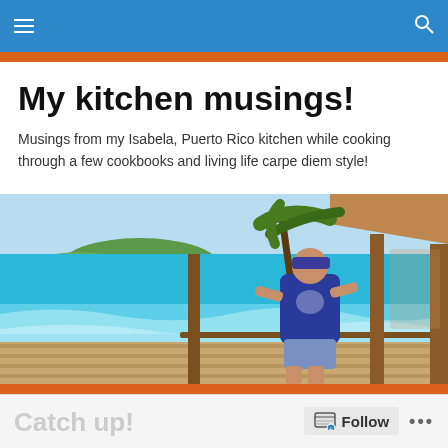My kitchen musings! — navigation bar
My kitchen musings!
Musings from my Isabela, Puerto Rico kitchen while cooking through a few cookbooks and living life carpe diem style!
[Figure (photo): Woman in blue t-shirt and cap standing on a wooden deck railing by a tropical beach with turquoise water, palm trees and a pavilion structure on the right]
Follow  •••